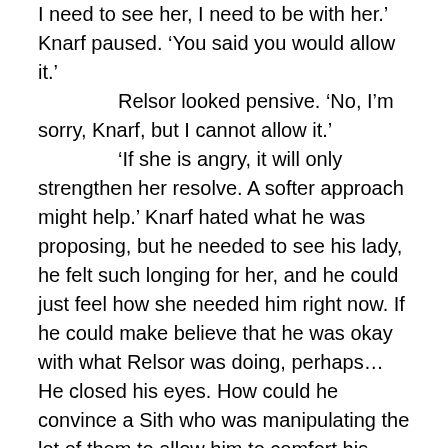I need to see her, I need to be with her.' Knarf paused. 'You said you would allow it.'
	Relsor looked pensive. 'No, I'm sorry, Knarf, but I cannot allow it.'
	'If she is angry, it will only strengthen her resolve. A softer approach might help.' Knarf hated what he was proposing, but he needed to see his lady, he felt such longing for her, and he could just feel how she needed him right now. If he could make believe that he was okay with what Relsor was doing, perhaps… He closed his eyes. How could he convince a Sith who was manipulating the lot of them to allow him to comfort his lady and provide for her needs, when Relsor knew very well it would help her feel better. 'Do you not trust me? After everything I did for you?'
	This got the Chiss's attention. 'Of course I trust you, Knarf. It is simply a question that you comforting